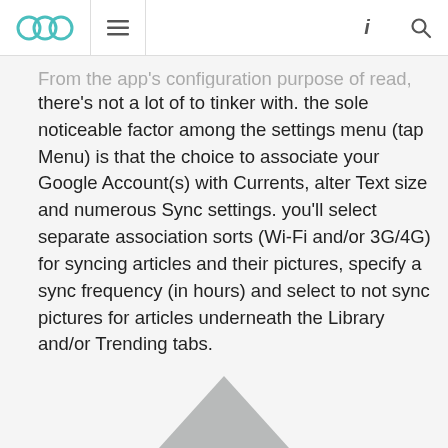OOC navigation bar with logo, menu, info, and search icons
From the app's configuration purpose of read, there's not a lot of to tinker with. the sole noticeable factor among the settings menu (tap Menu) is that the choice to associate your Google Account(s) with Currents, alter Text size and numerous Sync settings. you'll select separate association sorts (Wi-Fi and/or 3G/4G) for syncing articles and their pictures, specify a sync frequency (in hours) and select to not sync pictures for articles underneath the Library and/or Trending tabs.
[Figure (illustration): Partial view of a grey upward-pointing triangle shape at the bottom of the page]